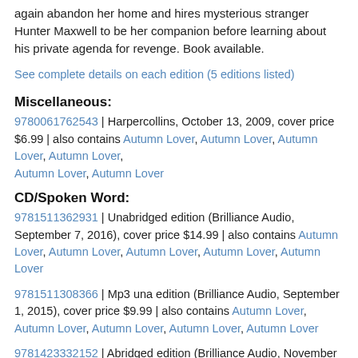again abandon her home and hires mysterious stranger Hunter Maxwell to be her companion before learning about his private agenda for revenge. Book available.
See complete details on each edition (5 editions listed)
Miscellaneous:
9780061762543 | Harpercollins, October 13, 2009, cover price $6.99 | also contains Autumn Lover, Autumn Lover, Autumn Lover, Autumn Lover, Autumn Lover, Autumn Lover
CD/Spoken Word:
9781511362931 | Unabridged edition (Brilliance Audio, September 7, 2016), cover price $14.99 | also contains Autumn Lover, Autumn Lover, Autumn Lover, Autumn Lover, Autumn Lover
9781511308366 | Mp3 una edition (Brilliance Audio, September 1, 2015), cover price $9.99 | also contains Autumn Lover, Autumn Lover, Autumn Lover, Autumn Lover, Autumn Lover
9781423332152 | Abridged edition (Brilliance Audio, November 28, 2008), cover price $14.99 | also contains Autumn Lover, Autumn Lover, Autumn Lover, Autumn Lover, Autumn Lover
9781423332145 | Abridged edition (Brilliance Audio, December 28, 2007)...